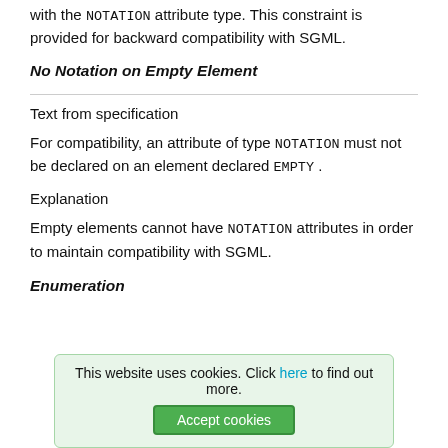with the NOTATION attribute type. This constraint is provided for backward compatibility with SGML.
No Notation on Empty Element
Text from specification
For compatibility, an attribute of type NOTATION must not be declared on an element declared EMPTY .
Explanation
Empty elements cannot have NOTATION attributes in order to maintain compatibility with SGML.
Enumeration
This website uses cookies. Click here to find out more.
Accept cookies